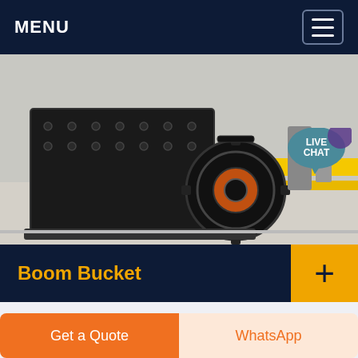MENU
[Figure (photo): Industrial heavy equipment machinery — a large black metal crusher/jaw machine with a circular flywheel/gear, sitting on a yellow-striped platform in an industrial setting.]
Boom Bucket
Boom Bucket is the easiest way for contractors to buy and sell used heavy equipment. View our inventory online or contact our team today for a free consultation on your fleet disposition needs.
Get a Quote
WhatsApp